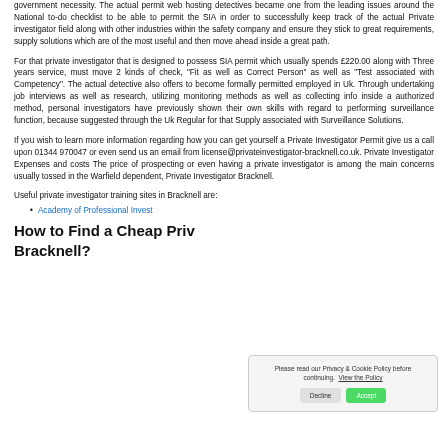government necessity. The actual permit web hosting detectives became one from the leading issues around the National to-do checklist to be able to permit the SIA in order to successfully keep track of the actual Private investigator field along with other industries within the safety company and ensure they stick to great requirements, supply solutions which are of the most useful and then move ahead inside a great path.
For that private investigator that is designed to possess SIA permit which usually spends £220.00 along with Three years service, must move 2 kinds of check, "Fit as well as Correct Person" as well as "Test associated with Competency". The actual detective also offers to become formally permitted employed in Uk. Through undertaking job interviews as well as research, utilizing monitoring methods as well as collecting info inside a authorized method, personal investigators have previously shown their own skills with regard to performing surveillance function, because suggested through the Uk Regular for that Supply associated with Surveillance Solutions.
If you wish to learn more information regarding how you can get yourself a Private Investigator Permit give us a call upon 01344 970047 or even send us an email from license@privateinvestigator-bracknell.co.uk. Private Investigator Expenses and costs The price of prospecting or even having a private investigator is among the main concerns usually tossed in the Warfield dependent, Private Investigator Bracknell.
Useful private investigator training sites in Bracknell are:
Academy of Professional Invest
How to Find a Cheap Priv Bracknell?